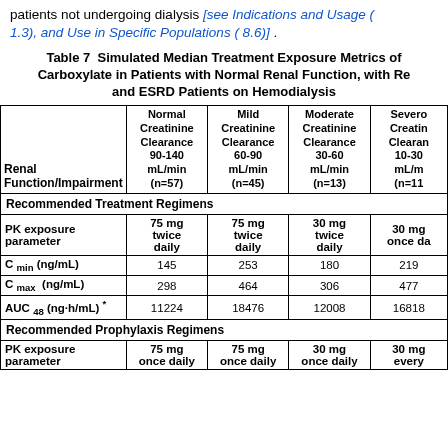patients not undergoing dialysis [see Indications and Usage (1.3), and Use in Specific Populations (8.6)].
| Renal Function/Impairment | Normal Creatinine Clearance 90-140 mL/min (n=57) | Mild Creatinine Clearance 60-90 mL/min (n=45) | Moderate Creatinine Clearance 30-60 mL/min (n=13) | Severe Creatinine Clearance 10-30 mL/min (n=11) |
| --- | --- | --- | --- | --- |
| Recommended Treatment Regimens |  |  |  |  |
| PK exposure parameter | 75 mg twice daily | 75 mg twice daily | 30 mg twice daily | 30 mg once daily |
| C min (ng/mL) | 145 | 253 | 180 | 219 |
| C max (ng/mL) | 298 | 464 | 306 | 477 |
| AUC 48 (ng·h/mL) * | 11224 | 18476 | 12008 | 16818 |
| Recommended Prophylaxis Regimens |  |  |  |  |
| PK exposure parameter | 75 mg once daily | 75 mg once daily | 30 mg once daily | 30 mg every... |